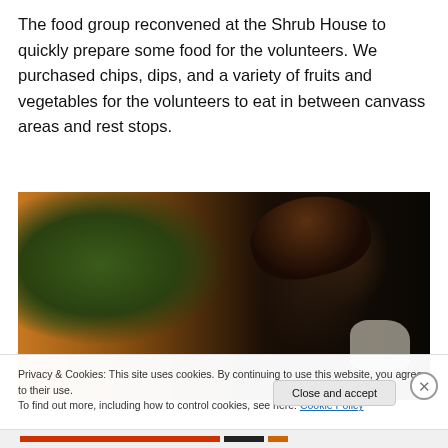The food group reconvened at the Shrub House to quickly prepare some food for the volunteers. We purchased chips, dips, and a variety of fruits and vegetables for the volunteers to eat in between canvass areas and rest stops.
[Figure (photo): A person viewed from behind with dark hair, outdoors with green foliage and dirt ground visible, wearing a white shirt, with yellow/orange element on the left side.]
Privacy & Cookies: This site uses cookies. By continuing to use this website, you agree to their use.
To find out more, including how to control cookies, see here: Cookie Policy